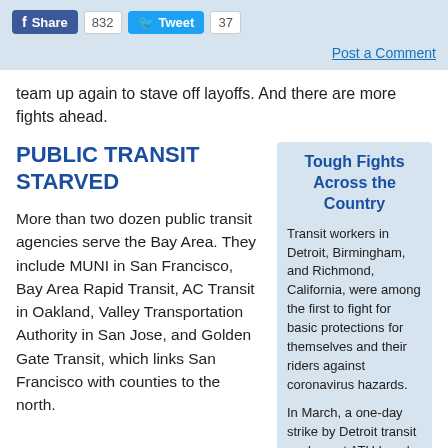Share 832  Tweet 37  Post a Comment
team up again to stave off layoffs. And there are more fights ahead.
PUBLIC TRANSIT STARVED
More than two dozen public transit agencies serve the Bay Area. They include MUNI in San Francisco, Bay Area Rapid Transit, AC Transit in Oakland, Valley Transportation Authority in San Jose, and Golden Gate Transit, which links San Francisco with counties to the north.
Tough Fights Across the Country
Transit workers in Detroit, Birmingham, and Richmond, California, were among the first to fight for basic protections for themselves and their riders against coronavirus hazards.
In March, a one-day strike by Detroit transit workers at ATU Local 26 won protective gear for drivers, fareless rear-door